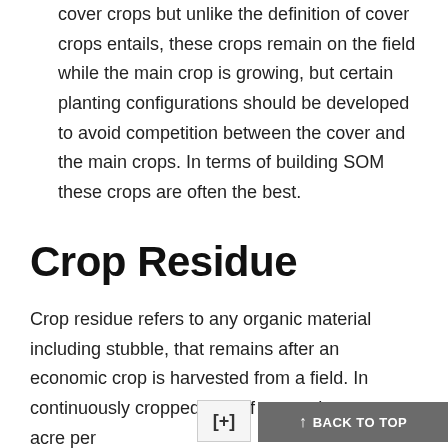cover crops but unlike the definition of cover crops entails, these crops remain on the field while the main crop is growing, but certain planting configurations should be developed to avoid competition between the cover and the main crops. In terms of building SOM these crops are often the best.
Crop Residue
Crop residue refers to any organic material including stubble, that remains after an economic crop is harvested from a field. In continuously cropped soils if two to th  ons per acre per